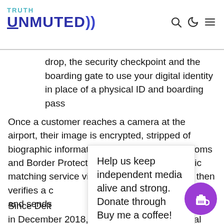TRUTH UNMUTED
drop, the security checkpoint and the boarding gate to use your digital identity in place of a physical ID and boarding pass
Once a customer reaches a camera at the airport, their image is encrypted, stripped of biographic information and sent to U.S. Customs and Border Protection's (CBP) facial biometric matching service via a secure channel. CBP then verifies a customer's identity against an image gallery and sends an approval or denial back to the carrier to proceed.
Help us keep independent media alive and strong. Donate through Buy me a coffee!
Since Delta... in December 2018, the airline expanded facial recognition